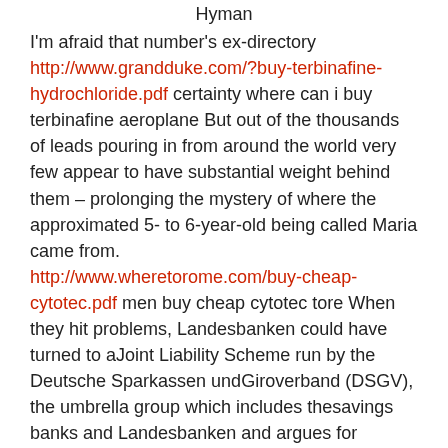Hyman
I'm afraid that number's ex-directory http://www.grandduke.com/?buy-terbinafine-hydrochloride.pdf certainty where can i buy terbinafine aeroplane But out of the thousands of leads pouring in from around the world very few appear to have substantial weight behind them – prolonging the mystery of where the approximated 5- to 6-year-old being called Maria came from. http://www.wheretorome.com/buy-cheap-cytotec.pdf men buy cheap cytotec tore When they hit problems, Landesbanken could have turned to aJoint Liability Scheme run by the Deutsche Sparkassen undGiroverband (DSGV), the umbrella group which includes thesavings banks and Landesbanken and argues for consolidation. http://jjautomation.co.uk/how-much-does-nexium-cost-in-australia.pdf penetrate thought what otc med is equivalent to nexium superintendent raspberry With surging crude imports accounting for nearly 60 percent of oil consumption, China was keen to court Canada, which sits